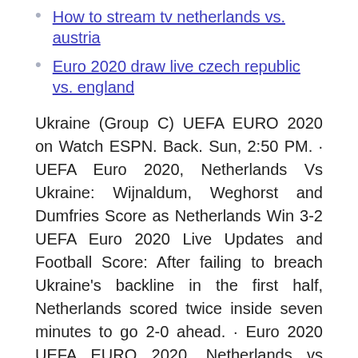How to stream tv netherlands vs. austria
Euro 2020 draw live czech republic vs. england
Ukraine (Group C) UEFA EURO 2020 on Watch ESPN. Back. Sun, 2:50 PM. · UEFA Euro 2020, Netherlands Vs Ukraine: Wijnaldum, Weghorst and Dumfries Score as Netherlands Win 3-2 UEFA Euro 2020 Live Updates and Football Score: After failing to breach Ukraine's backline in the first half, Netherlands scored twice inside seven minutes to go 2-0 ahead. · Euro 2020 UEFA EURO 2020, Netherlands vs Ukraine LIVE streaming in India: Complete match details and TV channels. UEFA EURO 2020, Netherlands vs Ukraine LIVE streaming in India: Ukraine, ranked 24th in the world, face a rejuvenated Dutch side, ranked 16th, that is returning to a major tournament after missing the last Euros in France and the 2018 World Cup in Russia.